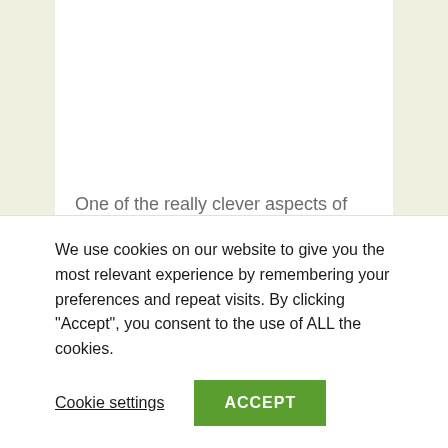One of the really clever aspects of this feature is the fact that quantities and pricing will be automatically pre-populated with the best pack size choice for that specific order, based on the price plan for that specific farmer.
We use cookies on our website to give you the most relevant experience by remembering your preferences and repeat visits. By clicking “Accept”, you consent to the use of ALL the cookies.
Cookie settings
ACCEPT